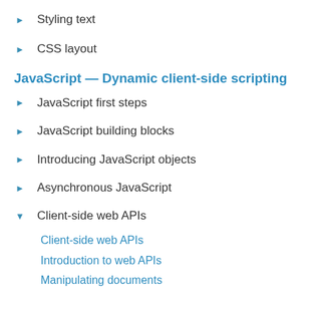Styling text
CSS layout
JavaScript — Dynamic client-side scripting
JavaScript first steps
JavaScript building blocks
Introducing JavaScript objects
Asynchronous JavaScript
Client-side web APIs
Client-side web APIs
Introduction to web APIs
Manipulating documents